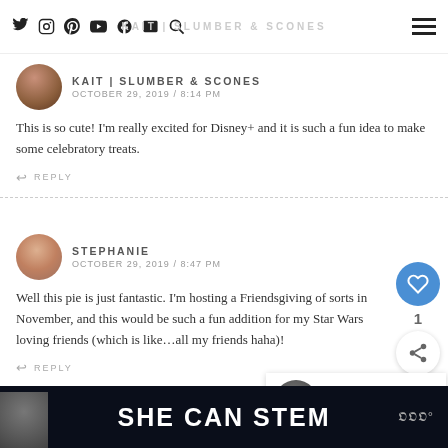KAIT | SLUMBER & SCONES (social icons + hamburger menu)
OCTOBER 29, 2019 / 8:14 PM
This is so cute! I'm really excited for Disney+ and it is such a fun idea to make some celebratory treats.
↩ REPLY
STEPHANIE
OCTOBER 29, 2019 / 8:47 PM
Well this pie is just fantastic. I'm hosting a Friendsgiving of sorts in November, and this would be such a fun addition for my Star Wars loving friends (which is like…all my friends haha)!
↩ REPLY
WHAT'S NEXT → 4 Marvel Movies To...
SHE CAN STEM